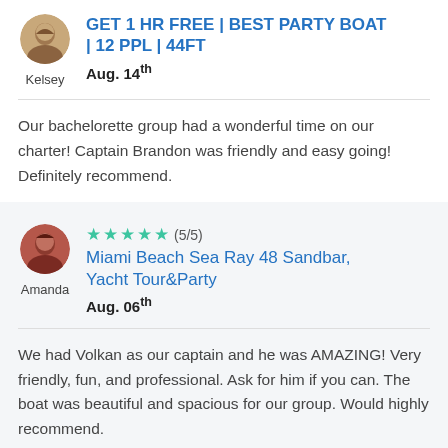GET 1 HR FREE | BEST PARTY BOAT | 12 PPL | 44FT
Kelsey
Aug. 14th
Our bachelorette group had a wonderful time on our charter! Captain Brandon was friendly and easy going! Definitely recommend.
(5/5)
Miami Beach Sea Ray 48 Sandbar, Yacht Tour&Party
Amanda
Aug. 06th
We had Volkan as our captain and he was AMAZING! Very friendly, fun, and professional. Ask for him if you can. The boat was beautiful and spacious for our group. Would highly recommend.